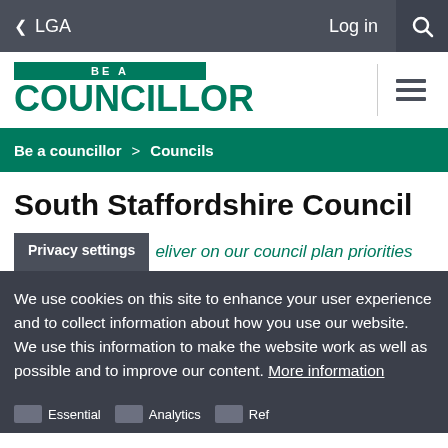< LGA   Log in  [search]
[Figure (logo): Be a Councillor logo - green text with BE A banner]
Be a councillor > Councils
South Staffordshire Council
Privacy settings   eliver on our council plan priorities
We use cookies on this site to enhance your user experience and to collect information about how you use our website. We use this information to make the website work as well as possible and to improve our content. More information
Essential  Analytics  Ref...